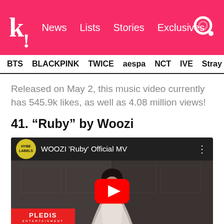k! News  Lists  Stories  Exclusives
BTS
BLACKPINK
TWICE
aespa
NCT
IVE
Stray
Released on May 2, this music video currently has 545.9k likes, as well as 4.08 million views!
41. “Ruby” by Woozi
[Figure (screenshot): YouTube video embed thumbnail for WOOZI 'Ruby' Official MV by HYBE LABELS, showing a young man in a white shirt in a dimly lit room. A red YouTube play button is visible in the center. A red PLEDIS ENTERTAINMENT banner appears at the bottom left.]